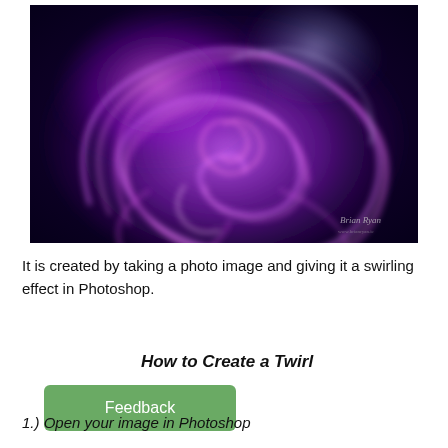[Figure (photo): Abstract purple swirling light art photograph with glowing pink and violet spiral patterns on a dark background, watermarked with 'Brian Ryan' in the bottom right corner.]
It is created by taking a photo image and giving it a swirling effect in Photoshop.
How to Create a Twirl
1.) Open your image in Photoshop